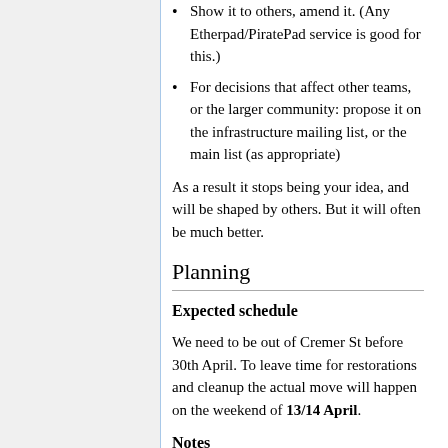Show it to others, amend it. (Any Etherpad/PiratePad service is good for this.)
For decisions that affect other teams, or the larger community: propose it on the infrastructure mailing list, or the main list (as appropriate)
As a result it stops being your idea, and will be shaped by others. But it will often be much better.
Planning
Expected schedule
We need to be out of Cremer St before 30th April. To leave time for restorations and cleanup the actual move will happen on the weekend of 13/14 April.
Notes